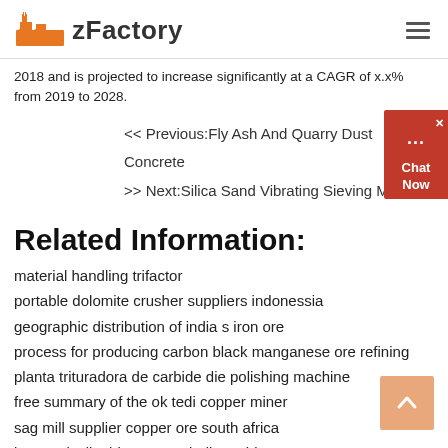zFactory
2018 and is projected to increase significantly at a CAGR of x.x% from 2019 to 2028.
<< Previous:Fly Ash And Quarry Dust Concrete
>> Next:Silica Sand Vibrating Sieving Machine
Related Information:
material handling trifactor
portable dolomite crusher suppliers indonessia
geographic distribution of india s iron ore
process for producing carbon black manganese ore refining
planta trituradora de carbide die polishing machine
free summary of the ok tedi copper miner
sag mill supplier copper ore south africa
bowers inclinable rotary grinding table
used mining equipment for sale in india